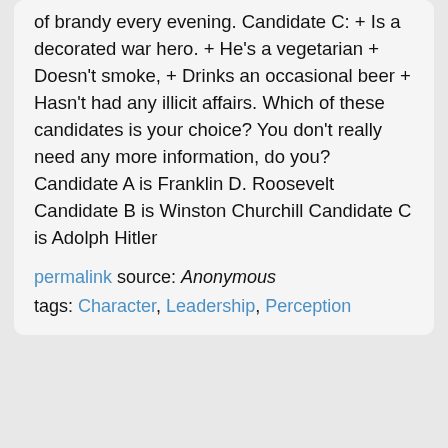of brandy every evening. Candidate C: + Is a decorated war hero. + He's a vegetarian + Doesn't smoke, + Drinks an occasional beer + Hasn't had any illicit affairs. Which of these candidates is your choice? You don't really need any more information, do you? Candidate A is Franklin D. Roosevelt Candidate B is Winston Churchill Candidate C is Adolph Hitler
permalink source: Anonymous
tags: Character, Leadership, Perception
Not Reading Pitino is a Choice by Joe Lavin -- http://joelavin.com Let me just say up-front that I like Boston Celtic basketball coach Rick Pitino. He is one of the best basketball coaches around, but, Coach, I have just one small request. Stop writing the books. Please. Pitino's Success is a Choice is another in a string of sports/business books which include Pat Riley's The Winner Within, Phil Jackson's Sacred Hoops, and Bill